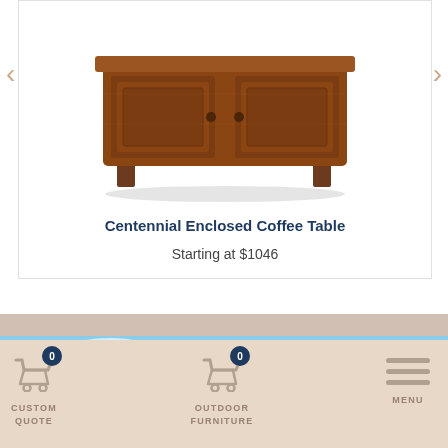[Figure (photo): Wooden Centennial Enclosed Coffee Table product photo on white background]
Centennial Enclosed Coffee Table
Starting at $1046
[Figure (photo): Banner with sky and rural farm scene background]
Sign Up For Our Newsletter
How to Shop Our Website +
CUSTOM QUOTE
OUTDOOR FURNITURE
MENU